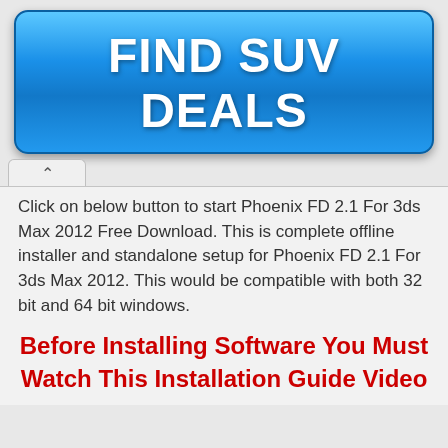[Figure (other): Blue gradient button/banner with bold white text reading FIND SUV DEALS]
Click on below button to start Phoenix FD 2.1 For 3ds Max 2012 Free Download. This is complete offline installer and standalone setup for Phoenix FD 2.1 For 3ds Max 2012. This would be compatible with both 32 bit and 64 bit windows.
Before Installing Software You Must Watch This Installation Guide Video